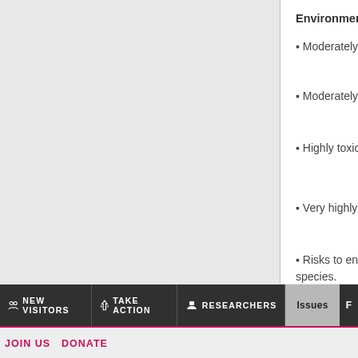Environmental:
▪ Moderately to highly persistent in soil.
▪ Moderately toxic to estuarine/marine fish.
▪ Highly toxic to freshwater fish and invertebrates.
▪ Very highly toxic to estuarine/marine invertebrates.
▪ Risks to endangered/threatened freshwater fish species.
Print  PDF  ↑  NEW VISITORS  TAKE ACTION  RESEARCHERS  Issues  JOIN US  DONATE